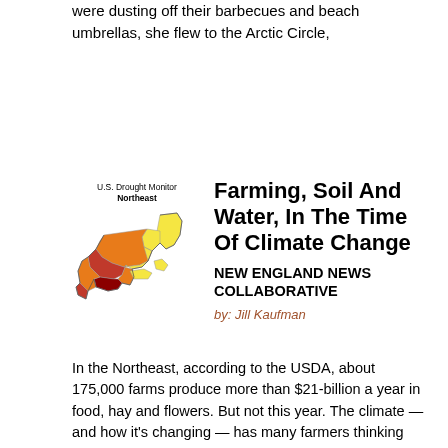were dusting off their barbecues and beach umbrellas, she flew to the Arctic Circle,
[Figure (map): U.S. Drought Monitor Northeast map showing drought conditions in the northeastern United States, with color coding indicating severity (yellow, orange, red, dark red areas)]
Farming, Soil And Water, In The Time Of Climate Change
NEW ENGLAND NEWS COLLABORATIVE
by: Jill Kaufman
In the Northeast, according to the USDA, about 175,000 farms produce more than $21-billion a year in food, hay and flowers. But not this year. The climate — and how it's changing — has many farmers thinking about how to manage their land, their animals and available water.